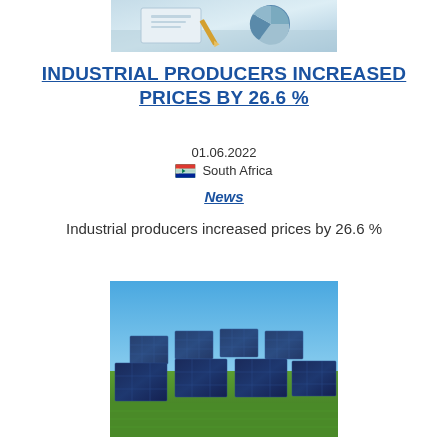[Figure (photo): Financial documents and charts on a desk, blue-toned photo]
INDUSTRIAL PRODUCERS INCREASED PRICES BY 26.6 %
01.06.2022
🇿🇦 South Africa
News
Industrial producers increased prices by 26.6 %
[Figure (photo): Solar panels in a field under a blue sky with green grass]